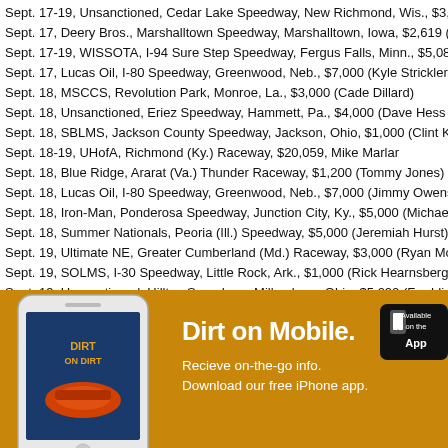Sept. 17-19, Unsanctioned, Cedar Lake Speedway, New Richmond, Wis., $3,000
Sept. 17, Deery Bros., Marshalltown Speedway, Marshalltown, Iowa, $2,619 (Jeff
Sept. 17-19, WISSOTA, I-94 Sure Step Speedway, Fergus Falls, Minn., $5,087, D
Sept. 17, Lucas Oil, I-80 Speedway, Greenwood, Neb., $7,000 (Kyle Strickler)
Sept. 18, MSCCS, Revolution Park, Monroe, La., $3,000 (Cade Dillard)
Sept. 18, Unsanctioned, Eriez Speedway, Hammett, Pa., $4,000 (Dave Hess Jr.)
Sept. 18, SBLMS, Jackson County Speedway, Jackson, Ohio, $1,000 (Clint Keen
Sept. 18-19, UHofA, Richmond (Ky.) Raceway, $20,059, Mike Marlar
Sept. 18, Blue Ridge, Ararat (Va.) Thunder Raceway, $1,200 (Tommy Jones)
Sept. 18, Lucas Oil, I-80 Speedway, Greenwood, Neb., $7,000 (Jimmy Owens)
Sept. 18, Iron-Man, Ponderosa Speedway, Junction City, Ky., $5,000 (Michael Chi
Sept. 18, Summer Nationals, Peoria (Ill.) Speedway, $5,000 (Jeremiah Hurst)
Sept. 19, Ultimate NE, Greater Cumberland (Md.) Raceway, $3,000 (Ryan Montgo
Sept. 19, SOLMS, I-30 Speedway, Little Rock, Ark., $1,000 (Rick Hearnsberger)
Sept. 19, Unsanctioned, Hilltop Speedway, Millersburg, Ohio, $5,000 (Freddie Car
Sept. 19, Sooner, Monarch Motor Speedway, Wichita Falls, Texas, $750 (Kip Hugh
Sept. 19-20, Cash Money, Springfield (Mo.) Raceway, $2,566 (Kylan Garner)
Sept. 19, Blue Ridge, Wythe Raceway, Rural Retreat, Va., $1,500 (Trevor Cregge
Se... 19, DIRTcar, Sycamore Speedway, Maple Park, Ill., $10,000 (Garrett Albers
...lution Park, Monroe, La., $7,000 (Cade Dillard)
...County Motorsports Park, Clewiston, Fla., $3,000 (Nevi
[Figure (infographic): Mobile app advertisement with a white iPhone showing the DirtOnDirt app, gold/amber background, text 'Dirt on Mobile. Recieve on-the-go info. Download our free iPhone app.' with an App Store badge.]